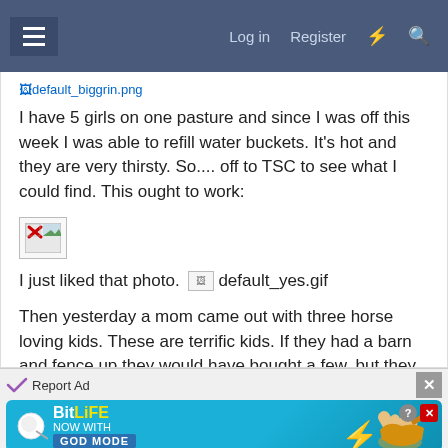Log in   Register
default_biggrin.png
I have 5 girls on one pasture and since I was off this week I was able to refill water buckets. It's hot and they are very thirsty. So.... off to TSC to see what I could find. This ought to work:
[Figure (other): Broken image placeholder with red X icon]
I just liked that photo. [default_yes.gif]
Then yesterday a mom came out with three horse loving kids. These are terrific kids. If they had a barn and fence up they would have bought a few, but they
[Figure (other): BitLife ad banner - NOW WITH GOD MODE, with sperm mascot and pointing hand graphic]